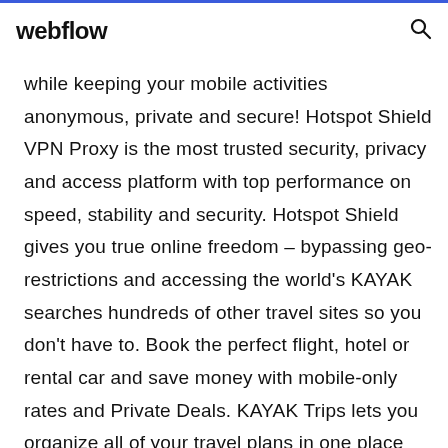webflow
while keeping your mobile activities anonymous, private and secure! Hotspot Shield VPN Proxy is the most trusted security, privacy and access platform with top performance on speed, stability and security. Hotspot Shield gives you true online freedom – bypassing geo-restrictions and accessing the world's KAYAK searches hundreds of other travel sites so you don't have to. Book the perfect flight, hotel or rental car and save money with mobile-only rates and Private Deals. KAYAK Trips lets you organize all of your travel plans in one place including free flight status updates, airport terminal maps an... KAYAK searches hundreds of other travel sites so you don't have to. Book the